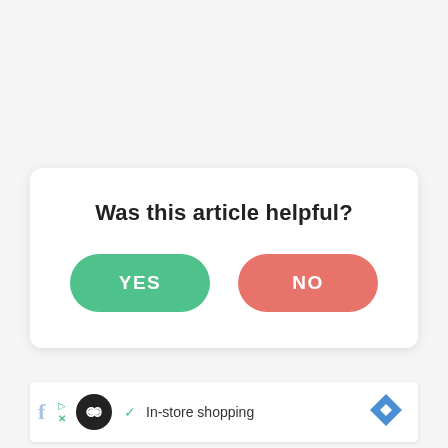Was this article helpful?
[Figure (screenshot): Two buttons: a green rounded button labeled YES and a red/salmon rounded button labeled NO]
[Figure (screenshot): Advertisement bar with Facebook icon, play/X controls, circular black logo with infinity symbol, green checkmark, text 'In-store shopping', and a blue diamond navigation arrow on the right]